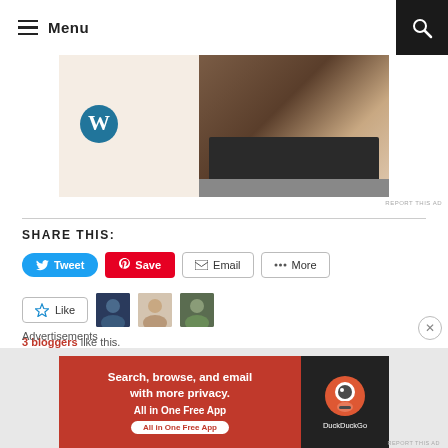Menu
[Figure (photo): WordPress logo and laptop hands photo advertisement]
REPORT THIS AD
SHARE THIS:
Tweet Save Email More
Like  3 bloggers like this.
Advertisements
[Figure (photo): DuckDuckGo ad banner: Search, browse, and email with more privacy. All in One Free App]